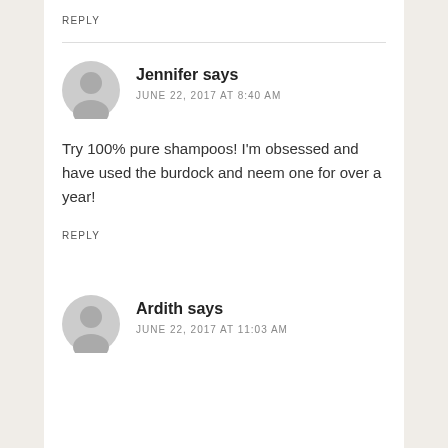REPLY
Jennifer says
JUNE 22, 2017 AT 8:40 AM
Try 100% pure shampoos! I'm obsessed and have used the burdock and neem one for over a year!
REPLY
Ardith says
JUNE 22, 2017 AT 11:03 AM